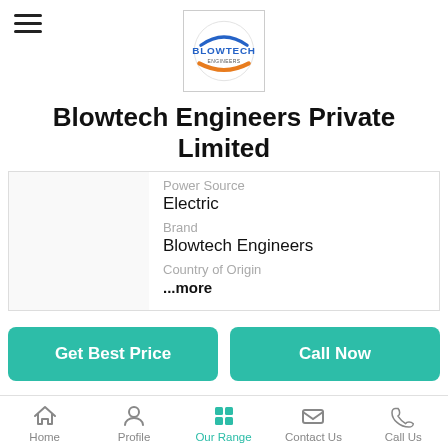[Figure (logo): Blowtech Engineers logo: circular logo with blue text BLOWTECH and orange swoosh]
Blowtech Engineers Private Limited
Power Source
Electric
Brand
Blowtech Engineers
Country of Origin
...more
Get Best Price
Call Now
Home   Profile   Our Range   Contact Us   Call Us